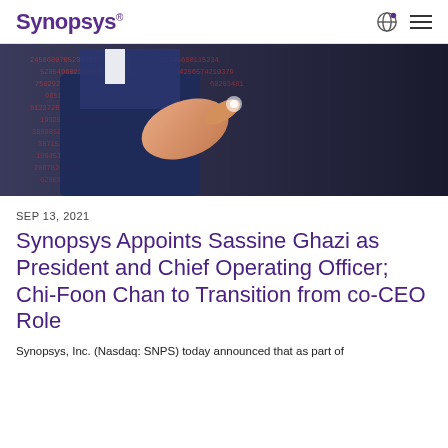SYNOPSYS
[Figure (photo): A person in a suit pointing at floating digital numbers and data on a dark background, resembling a digital/technology visualization.]
SEP 13, 2021
Synopsys Appoints Sassine Ghazi as President and Chief Operating Officer; Chi-Foon Chan to Transition from co-CEO Role
Synopsys, Inc. (Nasdaq: SNPS) today announced that as part of